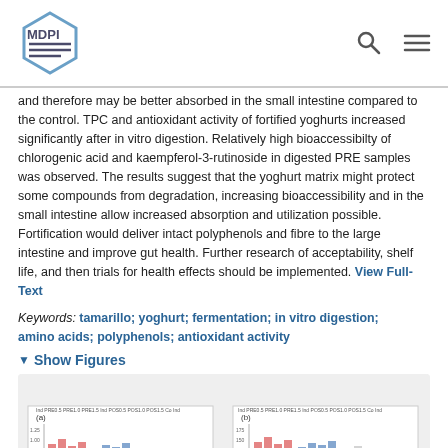MDPI
and therefore may be better absorbed in the small intestine compared to the control. TPC and antioxidant activity of fortified yoghurts increased significantly after in vitro digestion. Relatively high bioaccessibilty of chlorogenic acid and kaempferol-3-rutinoside in digested PRE samples was observed. The results suggest that the yoghurt matrix might protect some compounds from degradation, increasing bioaccessibility and in the small intestine allow increased absorption and utilization possible. Fortification would deliver intact polyphenols and fibre to the large intestine and improve gut health. Further research of acceptability, shelf life, and then trials for health effects should be implemented. View Full-Text
Keywords: tamarillo; yoghurt; fermentation; in vitro digestion; amino acids; polyphenols; antioxidant activity
▼ Show Figures
[Figure (other): Thumbnail preview of scientific figures showing bar charts related to study data]